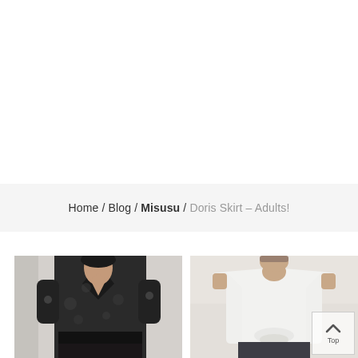Home / Blog / Misusu / Doris Skirt – Adults!
[Figure (photo): Woman wearing a black floral lace wrap-style top with 3/4 sleeves and a dark skirt, standing against a white brick wall]
[Figure (photo): Woman wearing a white t-shirt tied at the waist and shorts, standing against a light background, with a semi-transparent 'Top' back-to-top button overlay in the lower right corner]